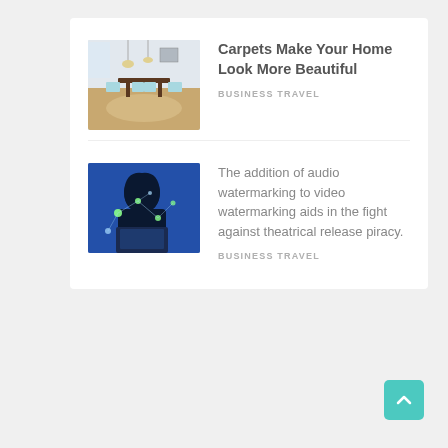[Figure (photo): Interior room photo showing a dining area with hardwood floors and a carpet, with chairs and pendant lights.]
Carpets Make Your Home Look More Beautiful
BUSINESS TRAVEL
[Figure (photo): Person in a dark hoodie working on a laptop with glowing blue network nodes overlaid on the image.]
The addition of audio watermarking to video watermarking aids in the fight against theatrical release piracy.
BUSINESS TRAVEL